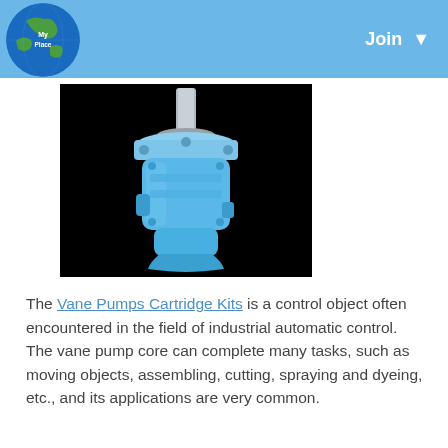Join
[Figure (photo): A blue vane pump / hydraulic pump on a black background, showing the pump body with a silver shaft on top and hose connectors at the bottom.]
The Vane Pumps Cartridge Kits is a control object often encountered in the field of industrial automatic control. The vane pump core can complete many tasks, such as moving objects, assembling, cutting, spraying and dyeing, etc., and its applications are very common.